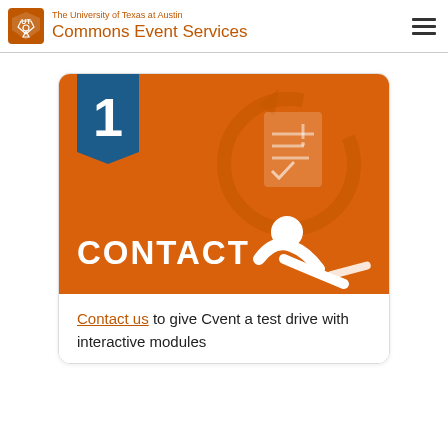The University of Texas at Austin Commons Event Services
[Figure (infographic): Orange card with number 1 badge in teal/blue, white CONTACT text, and white illustrated person at desk with checklist icon]
Contact us to give Cvent a test drive with interactive modules